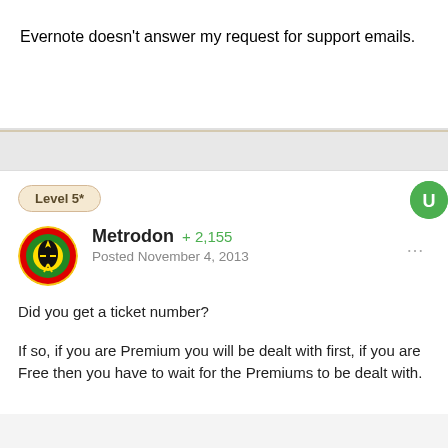Evernote doesn't answer my request for support emails.
Level 5*
Metrodon  +2,155
Posted November 4, 2013
Did you get a ticket number?

If so, if you are Premium you will be dealt with first, if you are Free then you have to wait for the Premiums to be dealt with.